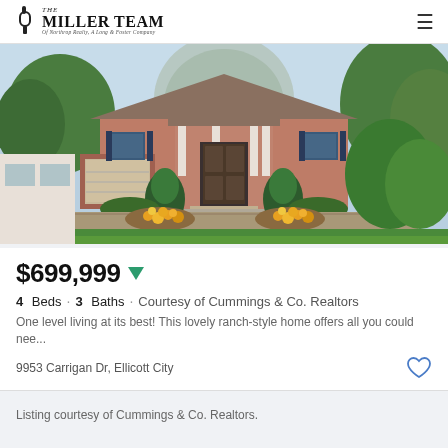The Miller Team — Of Northrop Realty, A Long & Foster Company
[Figure (photo): Exterior photo of a brick ranch-style home with green landscaping, marigold flower beds, and a tiered stone retaining wall in front]
$699,999
4 Beds · 3 Baths · Courtesy of Cummings & Co. Realtors
One level living at its best! This lovely ranch-style home offers all you could nee...
9953 Carrigan Dr, Ellicott City
Listing courtesy of Cummings & Co. Realtors.